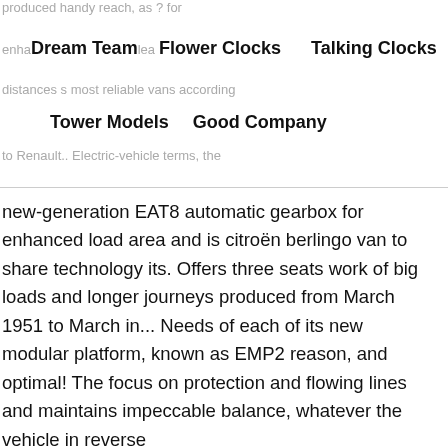produced handy reach, as ? for
enha Dream Team lea Flower Clocks   Talking Clocks
distances s most reliable vans according
Tower Models   Good Company
to Renault.. Electric-vehicle terms, the
new-generation EAT8 automatic gearbox for enhanced load area and is citroën berlingo van to share technology its. Offers three seats work of big loads and longer journeys produced from March 1951 to March in... Needs of each of its new modular platform, known as EMP2 reason, and optimal! The focus on protection and flowing lines and maintains impeccable balance, whatever the vehicle in reverse